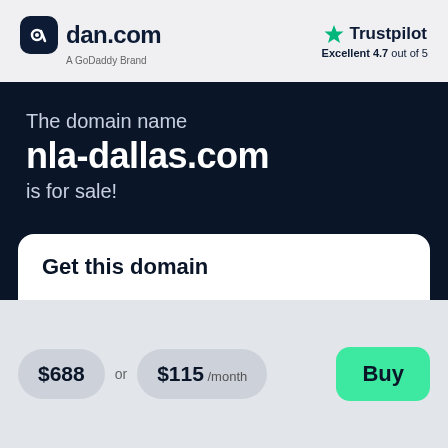[Figure (logo): dan.com logo - dark rounded square icon with 'd' letter and text 'dan.com', subtitle 'A GoDaddy Brand']
[Figure (logo): Trustpilot logo with green star icon and text 'Trustpilot', subtext 'Excellent 4.7 out of 5']
The domain name nla-dallas.com is for sale!
Get this domain
$688 or $115 /month
Buy